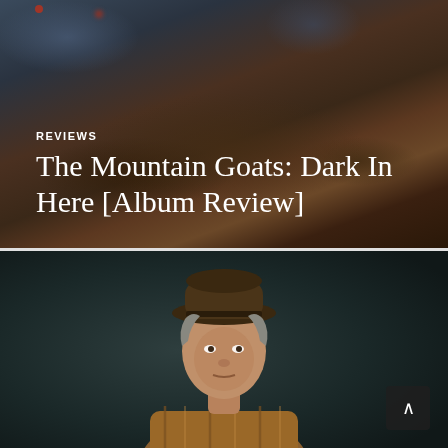[Figure (photo): Dark atmospheric hero image showing a nighttime or dusk landscape with dark earthy tones, brown foliage or brush, and hints of blue-gray sky. Two small red/orange glowing points of light visible near the top left.]
REVIEWS
The Mountain Goats: Dark In Here [Album Review]
[Figure (photo): Portrait photograph of a middle-aged man wearing a dark brown fedora-style hat and a plaid/flannel shirt in brown tones. He is seated, leaning slightly forward, against a dark teal/green studio backdrop. His expression is direct and serious.]